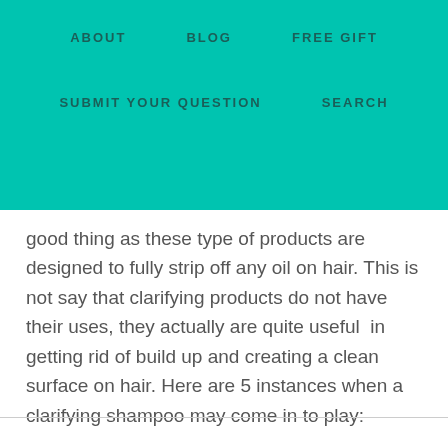ABOUT   BLOG   FREE GIFT   SUBMIT YOUR QUESTION   SEARCH
good thing as these type of products are designed to fully strip off any oil on hair. This is not say that clarifying products do not have their uses, they actually are quite useful in getting rid of build up and creating a clean surface on hair. Here are 5 instances when a clarifying shampoo may come in to play: